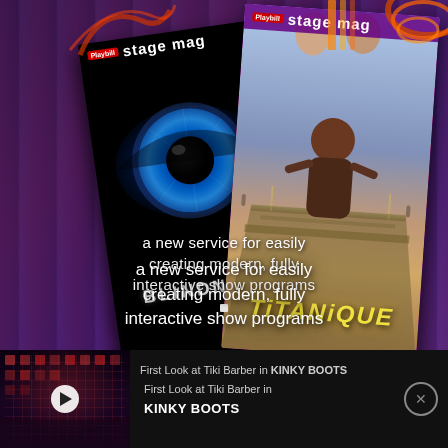[Figure (illustration): Advertisement for Stage Mag service showing two digital program magazines: 'BLINDNESS' with a blue eye graphic and 'TiTANiQUE' with a woman on a ship bow, overlaid on a purple theatrical curtain background]
a new service for easily creating modern, fully interactive show programs
[Figure (screenshot): Video thumbnail showing a theatrical stage with red-lit grid set design for Kinky Boots, with a white play button overlay]
First Look at Tiki Barber in KINKY BOOTS